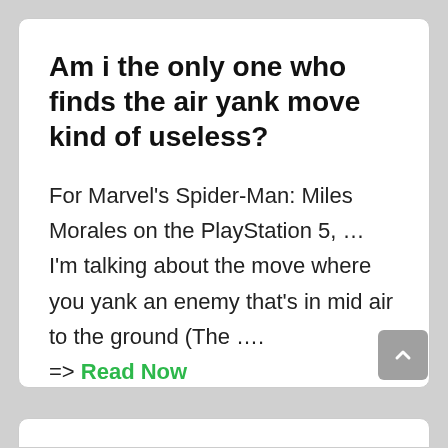Am i the only one who finds the air yank move kind of useless?
For Marvel's Spider-Man: Miles Morales on the PlayStation 5, … I'm talking about the move where you yank an enemy that's in mid air to the ground (The …. => Read Now